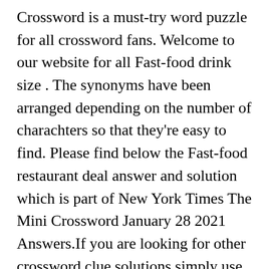Crossword is a must-try word puzzle for all crossword fans. Welcome to our website for all Fast-food drink size . The synonyms have been arranged depending on the number of charachters so that they're easy to find. Please find below the Fast-food restaurant deal answer and solution which is part of New York Times The Mini Crossword January 28 2021 Answers.If you are looking for other crossword clue solutions simply use the search functionality in the sidebar. The CroswodSolver.com system found 25 answers for fast food crossword clue. Here you may be able to find all the Typical fast-food side crossword clue answers, solutions for the crossword to Daily Post Crossword. If